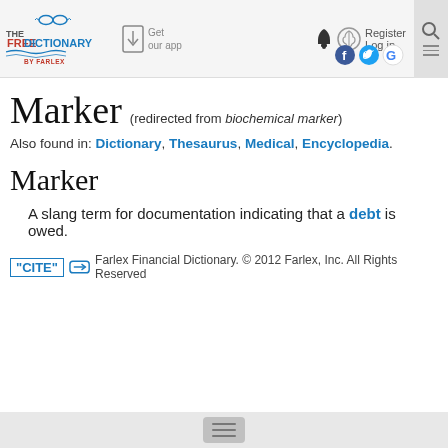The Free Dictionary by Farlex — Get our app — Register — Log in
Marker (redirected from biochemical marker)
Also found in: Dictionary, Thesaurus, Medical, Encyclopedia.
Marker
A slang term for documentation indicating that a debt is owed.
"CITE" — Farlex Financial Dictionary. © 2012 Farlex, Inc. All Rights Reserved